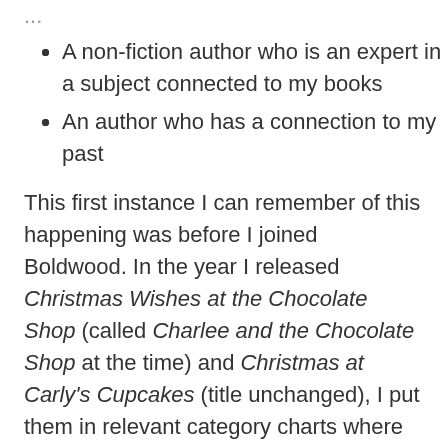A non-fiction author who is an expert in a subject connected to my books
An author who has a connection to my past
This first instance I can remember of this happening was before I joined Boldwood. In the year I released Christmas Wishes at the Chocolate Shop (called Charlee and the Chocolate Shop at the time) and Christmas at Carly's Cupcakes (title unchanged), I put them in relevant category charts where they toppled experts from the #1 spot. Christmas Wishes at the Chocolate Shop appeared in a chart about cooking ingredients (chocolate), knocking Jamie Oliver into the #2 position and Christmas at Carly's Cupcakes was in cake-making and did the same to Mary Berry. I probably do have the screenshots somewhere but no idea where I've filed them!